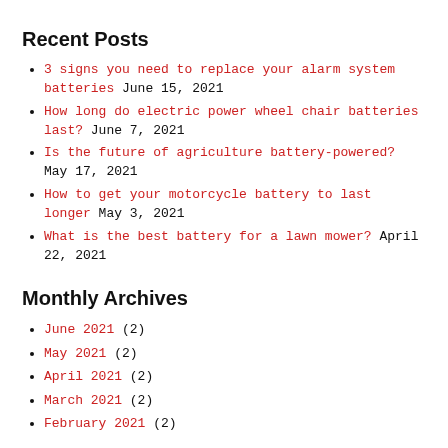Recent Posts
3 signs you need to replace your alarm system batteries June 15, 2021
How long do electric power wheel chair batteries last? June 7, 2021
Is the future of agriculture battery-powered? May 17, 2021
How to get your motorcycle battery to last longer May 3, 2021
What is the best battery for a lawn mower? April 22, 2021
Monthly Archives
June 2021 (2)
May 2021 (2)
April 2021 (2)
March 2021 (2)
February 2021 (2)